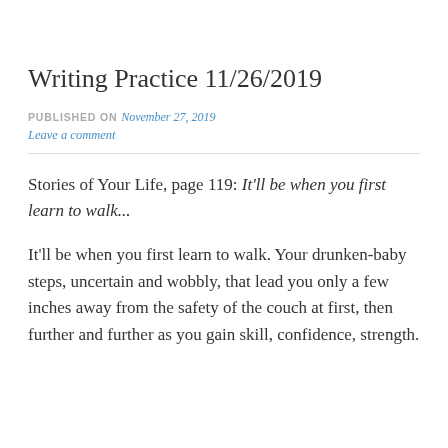Writing Practice 11/26/2019
PUBLISHED ON November 27, 2019
Leave a comment
Stories of Your Life, page 119: It'll be when you first learn to walk...
It'll be when you first learn to walk. Your drunken-baby steps, uncertain and wobbly, that lead you only a few inches away from the safety of the couch at first, then further and further as you gain skill, confidence, strength.